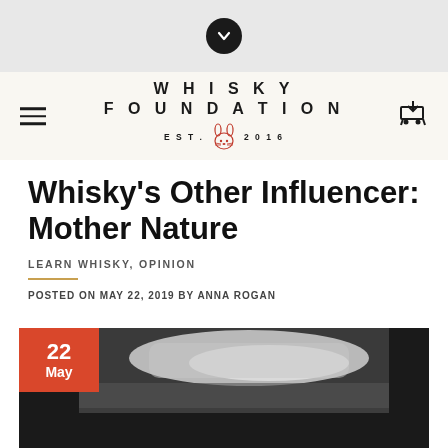[Figure (screenshot): Top grey navigation banner with a dark circular chevron/down-arrow button in the center]
[Figure (logo): Whisky Foundation logo with text WHISKY FOUNDATION EST. 2016 and a stylized rabbit/fox icon in red]
Whisky's Other Influencer: Mother Nature
LEARN WHISKY, OPINION
POSTED ON MAY 22, 2019 BY ANNA ROGAN
[Figure (photo): A dark atmospheric photo showing a whisky warehouse or distillery interior with light reflecting off surfaces, overlaid with a date badge reading 22 May in an orange-red square]